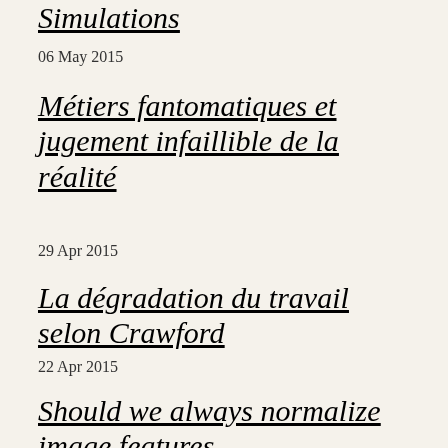Simulations
06 May 2015
Métiers fantomatiques et jugement infaillible de la réalité
29 Apr 2015
La dégradation du travail selon Crawford
22 Apr 2015
Should we always normalize image features